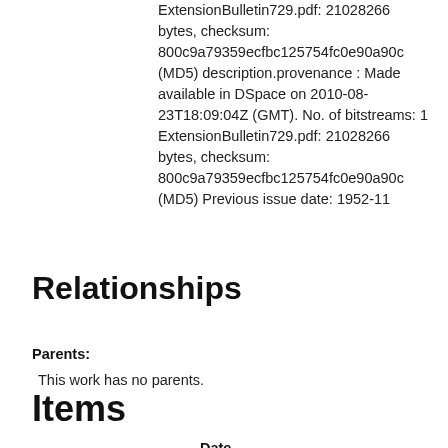ExtensionBulletin729.pdf: 21028266 bytes, checksum: 800c9a79359ecfbc125754fc0e90a90c (MD5) description.provenance : Made available in DSpace on 2010-08-23T18:09:04Z (GMT). No. of bitstreams: 1 ExtensionBulletin729.pdf: 21028266 bytes, checksum: 800c9a79359ecfbc125754fc0e90a90c (MD5) Previous issue date: 1952-11
Relationships
Parents:
This work has no parents.
Items
Date